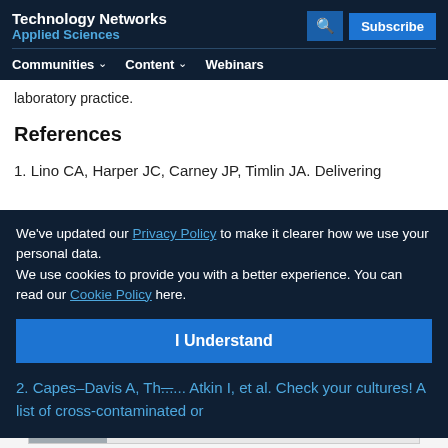Technology Networks Applied Sciences
laboratory practice.
References
1. Lino CA, Harper JC, Carney JP, Timlin JA. Delivering CRISPR: a review of the challenges and approaches. Drug Delivery. 2018;25(1):1234-1257.
We've updated our Privacy Policy to make it clearer how we use your personal data. We use cookies to provide you with a better experience. You can read our Cookie Policy here.
2. Capes-Davis A, Th... Atkin I, et al. Check your cultures! A list of cross-contaminated or...
Advertisement